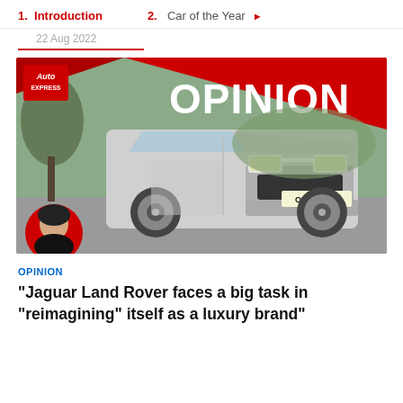1. Introduction   2. Car of the Year
22 Aug 2022
[Figure (photo): Auto Express OPINION banner with Land Rover Defender (plate OE70 WKM) driving on road, red diagonal background, Auto Express logo top-left, OPINION text large white, editor portrait bottom-left]
OPINION
"Jaguar Land Rover faces a big task in "reimagining" itself as a luxury brand"